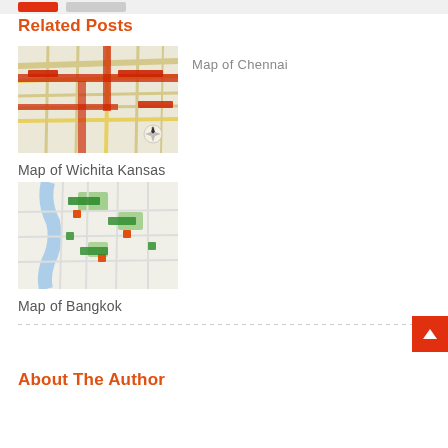Related Posts
[Figure (map): Map of Wichita Kansas showing street grid with red highlighted routes on a beige/yellow background with compass rose]
Map of Chennai
Map of Wichita Kansas
[Figure (map): Map of Bangkok showing river, green areas, streets and tourist landmarks with icons]
Map of Bangkok
About The Author